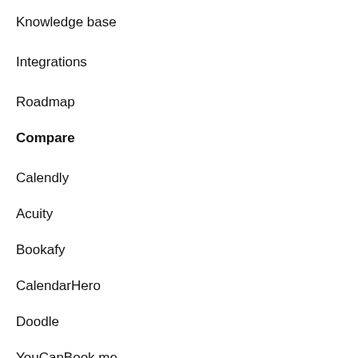Knowledge base
Integrations
Roadmap
Compare
Calendly
Acuity
Bookafy
CalendarHero
Doodle
YouCanBook.me
MeetingBird